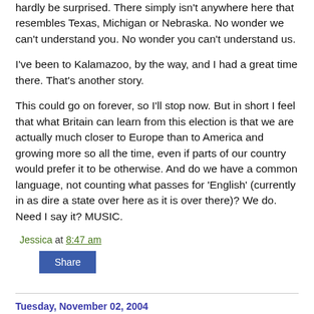hardly be surprised. There simply isn't anywhere here that resembles Texas, Michigan or Nebraska. No wonder we can't understand you. No wonder you can't understand us.
I've been to Kalamazoo, by the way, and I had a great time there. That's another story.
This could go on forever, so I'll stop now. But in short I feel that what Britain can learn from this election is that we are actually much closer to Europe than to America and growing more so all the time, even if parts of our country would prefer it to be otherwise. And do we have a common language, not counting what passes for 'English' (currently in as dire a state over here as it is over there)? We do. Need I say it? MUSIC.
Jessica at 8:47 am
Share
Tuesday, November 02, 2004
Rolling day